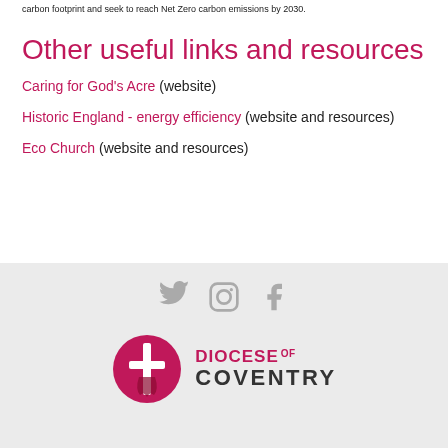carbon footprint and seek to reach Net Zero carbon emissions by 2030.
Other useful links and resources
Caring for God's Acre (website)
Historic England - energy efficiency (website and resources)
Eco Church (website and resources)
[Figure (logo): Social media icons: Twitter, Instagram, Facebook in grey]
[Figure (logo): Diocese of Coventry logo with cross emblem and text]